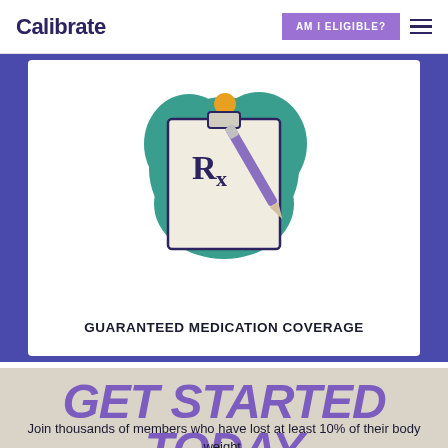Calibrate | AM I ELIGIBLE?
[Figure (illustration): Prescription clipboard with Rx symbol and pen, surrounded by teal decorative shape, on white card background]
GUARANTEED MEDICATION COVERAGE
GET STARTED TODAY
Join thousands of members who have lost at least 10% of their body weight.